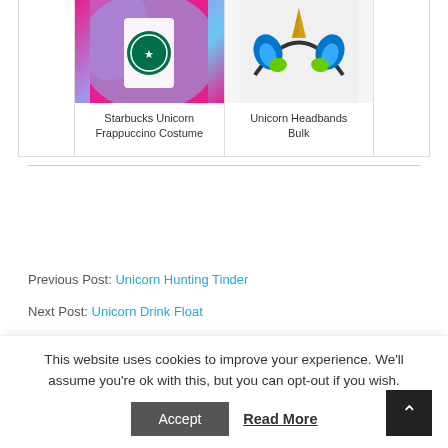[Figure (photo): Starbucks Unicorn Frappuccino Costume – colorful pink/blue tie-dye costume with Starbucks mermaid logo]
Starbucks Unicorn Frappuccino Costume
[Figure (photo): Unicorn Headbands in bulk – blue ears with green accents and gold horn on a headband, white background]
Unicorn Headbands Bulk
Previous Post: Unicorn Hunting Tinder
Next Post: Unicorn Drink Float
This website uses cookies to improve your experience. We'll assume you're ok with this, but you can opt-out if you wish.